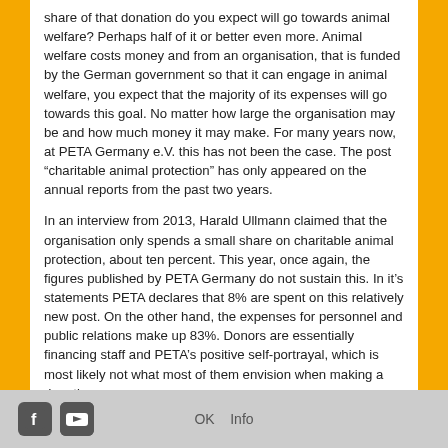share of that donation do you expect will go towards animal welfare? Perhaps half of it or better even more. Animal welfare costs money and from an organisation, that is funded by the German government so that it can engage in animal welfare, you expect that the majority of its expenses will go towards this goal. No matter how large the organisation may be and how much money it may make. For many years now, at PETA Germany e.V. this has not been the case. The post “charitable animal protection” has only appeared on the annual reports from the past two years.
In an interview from 2013, Harald Ullmann claimed that the organisation only spends a small share on charitable animal protection, about ten percent. This year, once again, the figures published by PETA Germany do not sustain this. In it’s statements PETA declares that 8% are spent on this relatively new post. On the other hand, the expenses for personnel and public relations make up 83%. Donors are essentially financing staff and PETA’s positive self-portrayal, which is most likely not what most of them envision when making a donation.
OK   Info